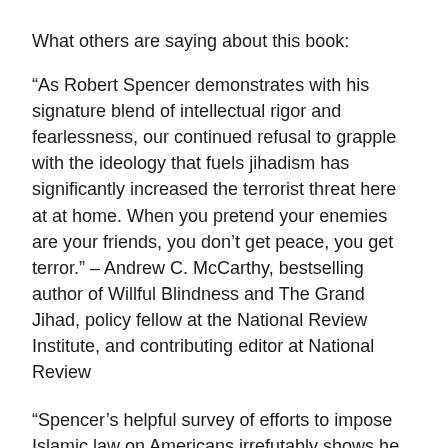What others are saying about this book:
“As Robert Spencer demonstrates with his signature blend of intellectual rigor and fearlessness, our continued refusal to grapple with the ideology that fuels jihadism has significantly increased the terrorist threat here at at home. When you pretend your enemies are your friends, you don’t get peace, you get terror.” – Andrew C. McCarthy, bestselling author of Willful Blindness and The Grand Jihad, policy fellow at the National Review Institute, and contributing editor at National Review
“Spencer’s helpful survey of efforts to impose Islamic law on Americans irrefutably shows he dangers of succumbing to a medieval code.” – Daniel Pipes, president of the Middle East Forum and author of In the Path of God: Islam